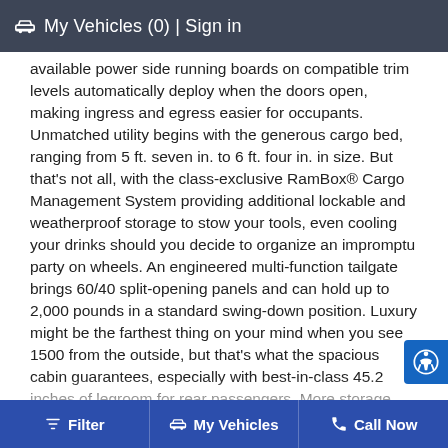🚗 My Vehicles (0) | Sign in
available power side running boards on compatible trim levels automatically deploy when the doors open, making ingress and egress easier for occupants. Unmatched utility begins with the generous cargo bed, ranging from 5 ft. seven in. to 6 ft. four in. in size. But that's not all, with the class-exclusive RamBox® Cargo Management System providing additional lockable and weatherproof storage to stow your tools, even cooling your drinks should you decide to organize an impromptu party on wheels. An engineered multi-function tailgate brings 60/40 split-opening panels and can hold up to 2,000 pounds in a standard swing-down position. Luxury might be the farthest thing on your mind when you see 1500 from the outside, but that's what the spacious cabin guarantees, especially with best-in-class 45.2 inches of legroom for rear passengers. More storage options abound, from the large center console between the front seats to available in-floor storage. All occupants will appreciate the active noise cancellation system that works
Filter  |  My Vehicles  |  Call Now